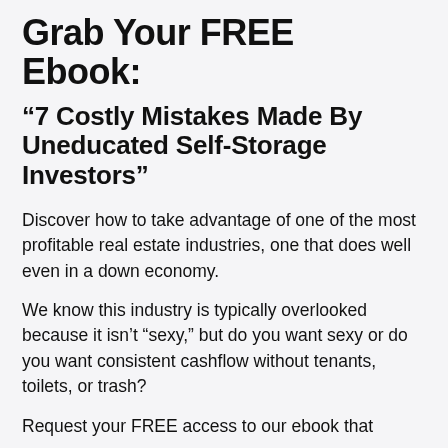Grab Your FREE Ebook:
“7 Costly Mistakes Made By Uneducated Self-Storage Investors”
Discover how to take advantage of one of the most profitable real estate industries, one that does well even in a down economy.
We know this industry is typically overlooked because it isn’t “sexy,” but do you want sexy or do you want consistent cashflow without tenants, toilets, or trash?
Request your FREE access to our ebook that